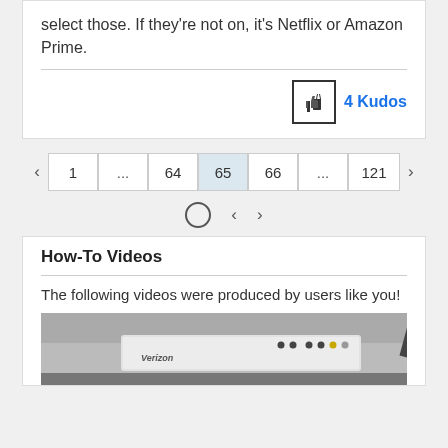select those. If they're not on, it's Netflix or Amazon Prime.
[Figure (infographic): Thumbs up kudos button showing 4 Kudos]
[Figure (infographic): Pagination navigation showing pages: < 1 ... 64 65 (active) 66 ... 121 > with sub-navigation circle and arrows]
How-To Videos
The following videos were produced by users like you!
[Figure (photo): Photo of a Verizon router/modem device with LED indicator lights]